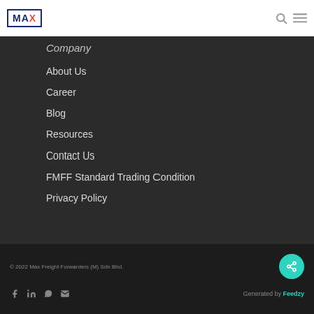MAX (logo)
Company
About Us
Career
Blog
Resources
Contact Us
FMFF Standard Trading Condition
Privacy Policy
© 2022 Max Freight Forwarders (M) Sdn Bhd. Generated by Feedzy